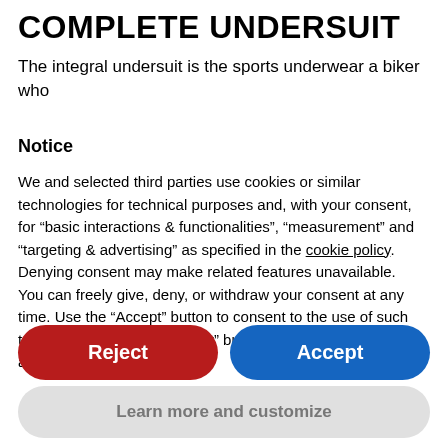COMPLETE UNDERSUIT
The integral undersuit is the sports underwear a biker who
Notice
We and selected third parties use cookies or similar technologies for technical purposes and, with your consent, for “basic interactions & functionalities”, “measurement” and “targeting & advertising” as specified in the cookie policy. Denying consent may make related features unavailable.
You can freely give, deny, or withdraw your consent at any time. Use the “Accept” button to consent to the use of such technologies. Use the “Reject” button to continue without accepting.
Reject
Accept
Learn more and customize